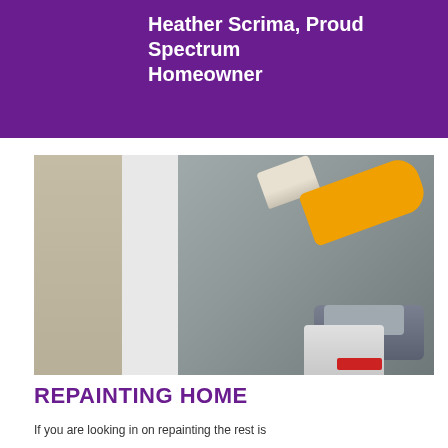Heather Scrima, Proud Spectrum Homeowner
[Figure (photo): Close-up photo of a person's hand holding an orange-handled paintbrush, painting a window frame. A paint tray and cloth are visible in the lower right corner.]
REPAINTING HOME
If you are looking in on repainting the rest is